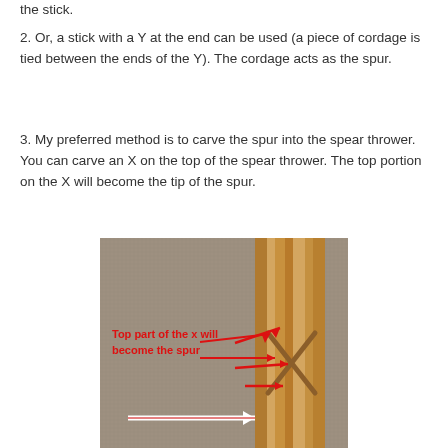the stick.
2. Or, a stick with a Y at the end can be used (a piece of cordage is tied between the ends of the Y). The cordage acts as the spur.
3. My preferred method is to carve the spur into the spear thrower. You can carve an X on the top of the spear thrower. The top portion on the X will become the tip of the spur.
[Figure (photo): Photograph of a carved wooden spear thrower end with an X shape visible, resting on a gray fabric background. Red text annotation reads 'Top part of the x will become the spur' with red arrows pointing to the X carved into the wood, and a white arrow pointing at the base of the X.]